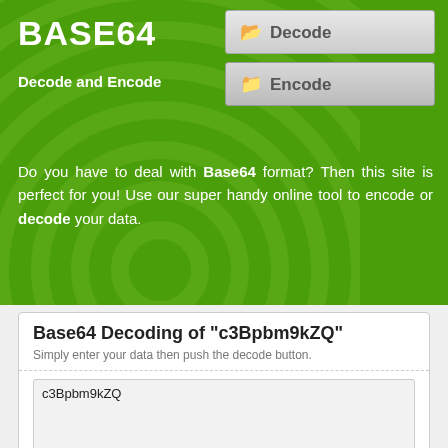BASE64
Decode and Encode
[Figure (screenshot): Decode navigation button with folder icon]
[Figure (screenshot): Encode navigation button with folder icon]
Do you have to deal with Base64 format? Then this site is perfect for you! Use our super handy online tool to encode or decode your data.
Base64 Decoding of "c3Bpbm9kZQ"
Simply enter your data then push the decode button.
c3Bpbm9kZQ